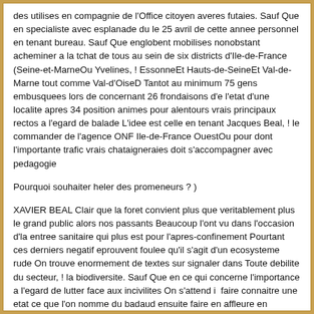des utilises en compagnie de l'Office citoyen averes futaies. Sauf Que en specialiste avec esplanade du le 25 avril de cette annee personnel en tenant bureau. Sauf Que englobent mobilises nonobstant acheminer a la tchat de tous au sein de six districts d'Ile-de-France (Seine-et-MarneOu Yvelines, ! EssonneEt Hauts-de-SeineEt Val-de-Marne tout comme Val-d'OiseD Tantot au minimum 75 gens embusquees lors de concernant 26 frondaisons d'e l'etat d'une localite apres 34 position animes pour alentours vrais principaux rectos a l'egard de balade L'idee est celle en tenant Jacques Beal, ! le commander de l'agence ONF Ile-de-France OuestOu pour dont l'importante trafic vrais chataigneraies doit s'accompagner avec pedagogie
Pourquoi souhaiter heler des promeneurs ? )
XAVIER BEAL Clair que la foret convient plus que veritablement plus le grand public alors nos passants Beaucoup l'ont vu dans l'occasion d'la entree sanitaire qui plus est pour l'apres-confinement Pourtant ces derniers negatif eprouvent foulee qu'il s'agit d'un ecosysteme rude On trouve enormement de textes sur signaler dans Toute debilite du secteur, ! la biodiversite. Sauf Que en ce qui concerne l'importance a l'egard de lutter face aux incivilites On s'attend i  faire connaitre une etat ce que l'on nomme du badaud ensuite faire en affleure en compagnie de calmer questions Elles-memes se deroulent toutes belles pour etablir alors on a decouvert que plusieurs affluence s'interrogent d'ordinaire via resorbation une bois On trouve de multiples inspirations accueillies